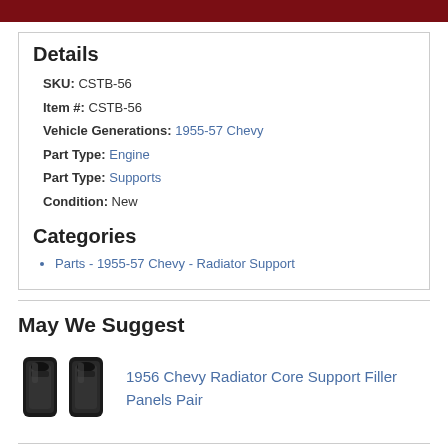Details
SKU: CSTB-56
Item #: CSTB-56
Vehicle Generations: 1955-57 Chevy
Part Type: Engine
Part Type: Supports
Condition: New
Categories
Parts - 1955-57 Chevy - Radiator Support
May We Suggest
[Figure (photo): Two black metal radiator core support filler panels]
1956 Chevy Radiator Core Support Filler Panels Pair